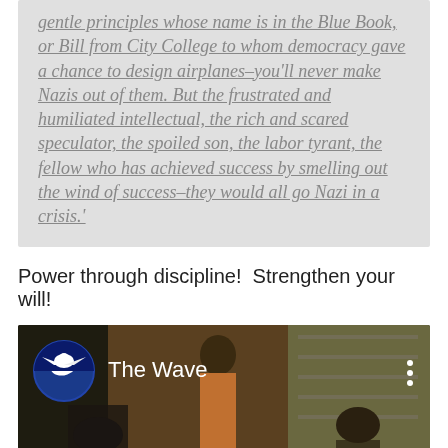gentle principles whose name is in the Blue Book, or Bill from City College to whom democracy gave a chance to design airplanes–you'll never make Nazis out of them. But the frustrated and humiliated intellectual, the rich and scared speculator, the spoiled son, the labor tyrant, the fellow who has achieved success by smelling out the wind of success–they would all go Nazi in a crisis.'
Power through discipline!  Strengthen your will!
[Figure (screenshot): YouTube video thumbnail showing 'The Wave' with a YouTube logo/channel icon on the left, the title 'The Wave' in white text, a three-dot menu icon on the right, and a scene with people in a classroom in the background. A red YouTube play button is visible at the bottom center.]